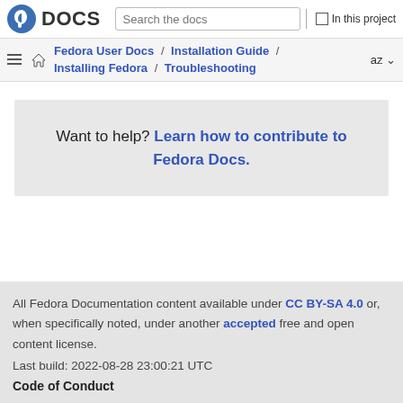DOCS | Search the docs | In this project
Fedora User Docs / Installation Guide / Installing Fedora / Troubleshooting
Want to help? Learn how to contribute to Fedora Docs.
All Fedora Documentation content available under CC BY-SA 4.0 or, when specifically noted, under another accepted free and open content license. Last build: 2022-08-28 23:00:21 UTC Code of Conduct